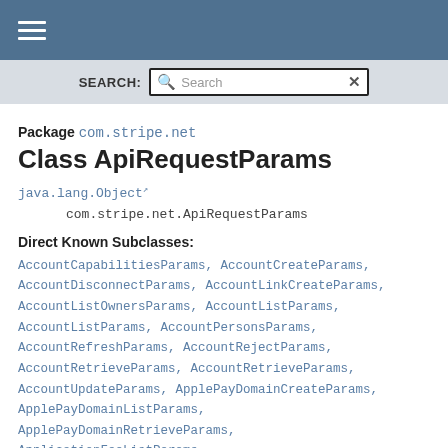≡ (navigation menu)
SEARCH: [Search]
Package com.stripe.net
Class ApiRequestParams
java.lang.Object↗
    com.stripe.net.ApiRequestParams
Direct Known Subclasses:
AccountCapabilitiesParams, AccountCreateParams, AccountDisconnectParams, AccountLinkCreateParams, AccountListOwnersParams, AccountListParams, AccountListParams, AccountPersonsParams, AccountRefreshParams, AccountRejectParams, AccountRetrieveParams, AccountRetrieveParams, AccountUpdateParams, ApplePayDomainCreateParams, ApplePayDomainListParams, ApplePayDomainRetrieveParams, ApplicationFeeListParams, ApplicationFeeRetrieveParams, AuthorizationApproveParams,